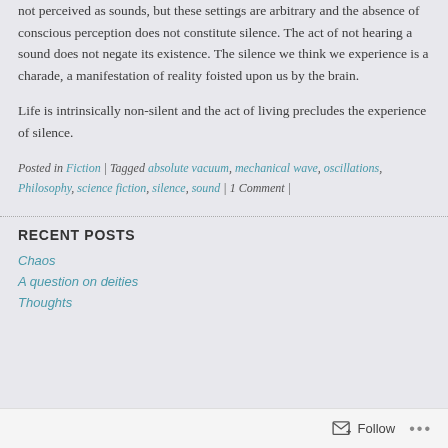not perceived as sounds, but these settings are arbitrary and the absence of conscious perception does not constitute silence. The act of not hearing a sound does not negate its existence. The silence we think we experience is a charade, a manifestation of reality foisted upon us by the brain.
Life is intrinsically non-silent and the act of living precludes the experience of silence.
Posted in Fiction | Tagged absolute vacuum, mechanical wave, oscillations, Philosophy, science fiction, silence, sound | 1 Comment |
RECENT POSTS
Chaos
A question on deities
Thoughts
Follow ...